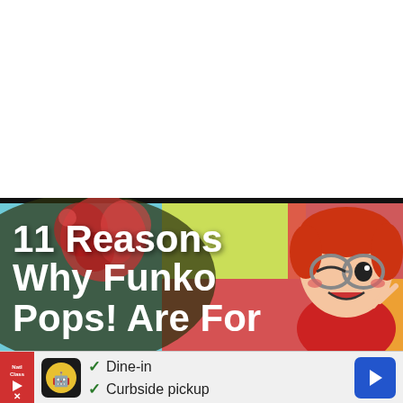[Figure (illustration): Promotional banner image with bold white text '11 Reasons Why Funko Pops! Are For' on a colorful background with a Funko Pop character (red-haired girl with glasses) on the right side and a decorative ball cluster on the left.]
[Figure (infographic): Advertisement bar at the bottom showing a logo, checkmarks for 'Dine-in' and 'Curbside pickup', and a blue navigation arrow button on the right.]